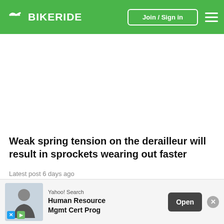BIKERIDE — Join / Sign in
Weak spring tension on the derailleur will result in sprockets wearing out faster
Latest post 6 days ago
On one bike I have either the bottom of the range Shima no rea... tom the ra... sion is
[Figure (screenshot): Yahoo! Search advertisement overlay: Human Resource Mgmt Cert Prog with Open button and close (x) button]